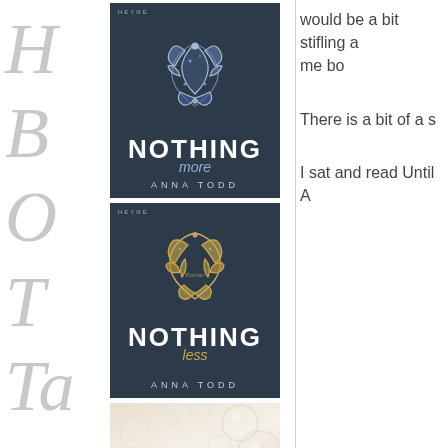[Figure (illustration): Watermark italic cursive letters H, B, O, T partially visible on far left edge of page]
[Figure (illustration): Book cover: Nothing More by Anna Todd, dark navy background with white ornamental flourish design, Heyne publisher label]
[Figure (illustration): Book cover: Nothing Less by Anna Todd, dark navy background with gold ornamental flourish design, Heyne publisher label]
[Figure (illustration): Book cover: Eversea - Ein einziger Moment by Natasha Boyd, light beige background with bubbles/circles, blue italic title text]
would be a bit stifling a me bo
There is a bit of a s
I sat and read Until A